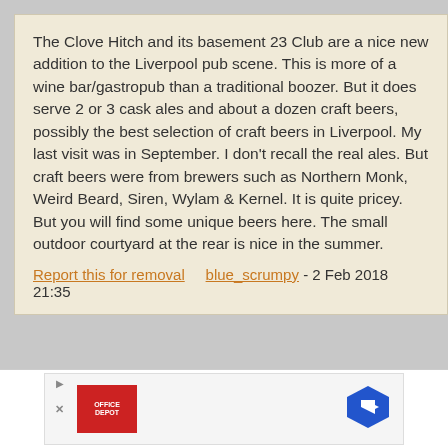The Clove Hitch and its basement 23 Club are a nice new addition to the Liverpool pub scene. This is more of a wine bar/gastropub than a traditional boozer. But it does serve 2 or 3 cask ales and about a dozen craft beers, possibly the best selection of craft beers in Liverpool. My last visit was in September. I don't recall the real ales. But craft beers were from brewers such as Northern Monk, Weird Beard, Siren, Wylam & Kernel. It is quite pricey. But you will find some unique beers here. The small outdoor courtyard at the rear is nice in the summer.
Report this for removal   blue_scrumpy - 2 Feb 2018 21:35
[Figure (other): Advertisement banner with Office Depot logo (red square) on left and a blue diamond navigation/direction arrow icon on the right. Has close X button on far left.]